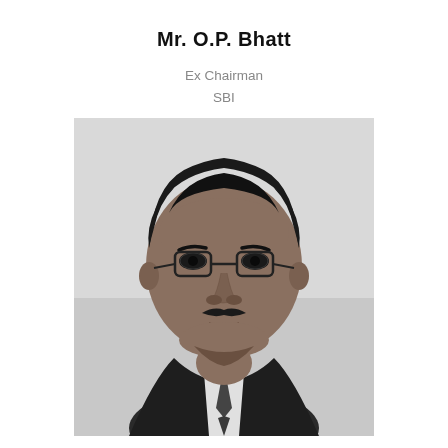Mr. O.P. Bhatt
Ex Chairman
SBI
[Figure (photo): Black and white portrait photograph of Mr. O.P. Bhatt, a middle-aged man wearing glasses, a dark suit, white shirt, and tie, with a neutral background.]